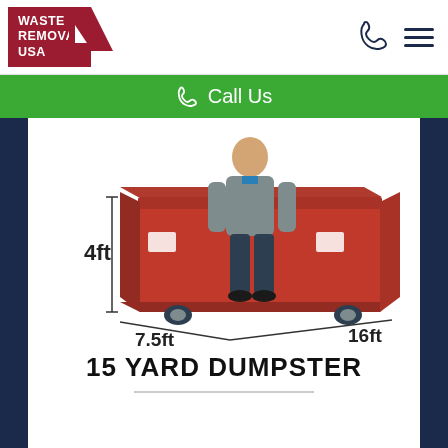[Figure (logo): Waste Removal USA logo — red/maroon background with white text and white triangle accent]
Call Us
[Figure (illustration): 15 yard dumpster diagram with a person standing in front for scale. Dimensions labeled: 4ft height, 7.5ft width, 16ft length.]
15 YARD DUMPSTER